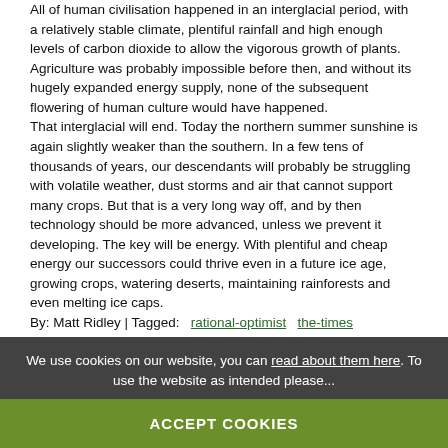All of human civilisation happened in an interglacial period, with a relatively stable climate, plentiful rainfall and high enough levels of carbon dioxide to allow the vigorous growth of plants. Agriculture was probably impossible before then, and without its hugely expanded energy supply, none of the subsequent flowering of human culture would have happened.
That interglacial will end. Today the northern summer sunshine is again slightly weaker than the southern. In a few tens of thousands of years, our descendants will probably be struggling with volatile weather, dust storms and air that cannot support many crops. But that is a very long way off, and by then technology should be more advanced, unless we prevent it developing. The key will be energy. With plentiful and cheap energy our successors could thrive even in a future ice age, growing crops, watering deserts, maintaining rainforests and even melting ice caps.
By: Matt Ridley | Tagged:   rational-optimist   the-times
We use cookies on our website, you can read about them here. To use the website as intended please...
ACCEPT COOKIES